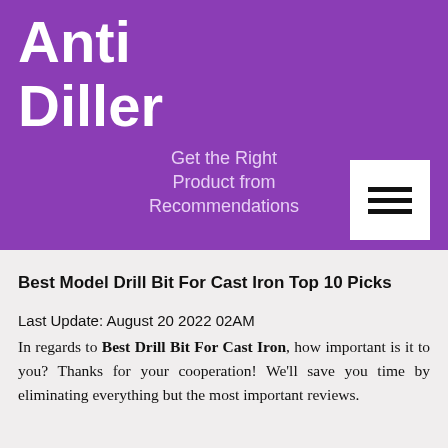Anti Diller
Get the Right Product from Recommendations
Best Model Drill Bit For Cast Iron Top 10 Picks
Last Update: August 20 2022 02AM
In regards to Best Drill Bit For Cast Iron, how important is it to you? Thanks for your cooperation! We'll save you time by eliminating everything but the most important reviews.